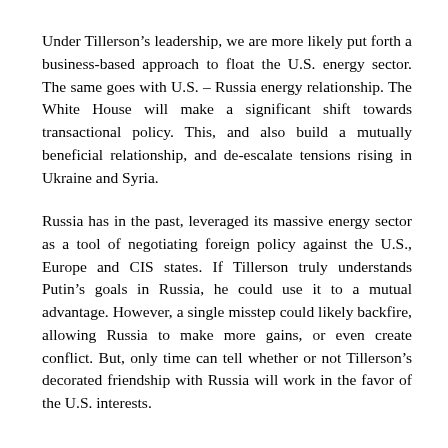Under Tillerson's leadership, we are more likely put forth a business-based approach to float the U.S. energy sector. The same goes with U.S. – Russia energy relationship. The White House will make a significant shift towards transactional policy. This, and also build a mutually beneficial relationship, and de-escalate tensions rising in Ukraine and Syria.
Russia has in the past, leveraged its massive energy sector as a tool of negotiating foreign policy against the U.S., Europe and CIS states. If Tillerson truly understands Putin's goals in Russia, he could use it to a mutual advantage. However, a single misstep could likely backfire, allowing Russia to make more gains, or even create conflict. But, only time can tell whether or not Tillerson's decorated friendship with Russia will work in the favor of the U.S. interests.